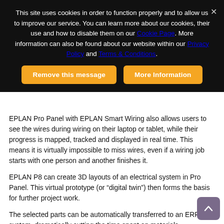This site uses cookies in order to function properly and to allow us to improve our service. You can learn more about our cookies, their use and how to disable them on our Cookie Page. More information can also be found about our website within our Privacy Policy and Terms & Conditions.
Remove this message | More Information
EPLAN Pro Panel with EPLAN Smart Wiring also allows users to see the wires during wiring on their laptop or tablet, while their progress is mapped, tracked and displayed in real time.  This means it is virtually impossible to miss wires, even if a wiring job starts with one person and another finishes it.
EPLAN P8 can create 3D layouts of an electrical system in Pro Panel. This virtual prototype (or “digital twin”) then forms the basis for further project work.
The selected parts can be automatically transferred to an ERP system, dramatically cutting the time spent on materials procurement.